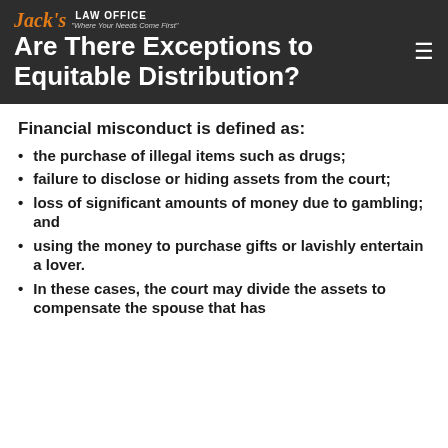Are There Exceptions to Equitable Distribution?
Financial misconduct is defined as:
the purchase of illegal items such as drugs;
failure to disclose or hiding assets from the court;
loss of significant amounts of money due to gambling; and
using the money to purchase gifts or lavishly entertain a lover.
In these cases, the court may divide the assets to compensate the spouse that has